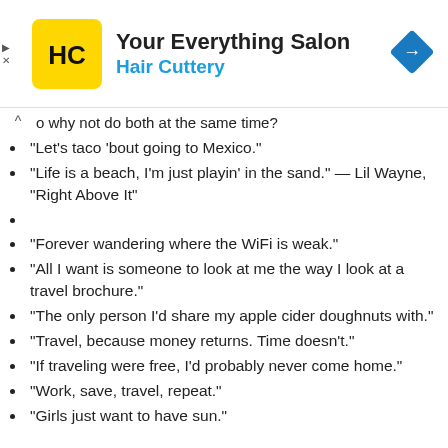[Figure (logo): Hair Cuttery advertisement banner with HC logo, 'Your Everything Salon' title, 'Hair Cuttery' subtitle in blue, and a navigation diamond icon]
o why not do both at the same time?
“Let’s taco ‘bout going to Mexico.”
“Life is a beach, I’m just playin’ in the sand.” — Lil Wayne, “Right Above It”
“Forever wandering where the WiFi is weak.”
“All I want is someone to look at me the way I look at a travel brochure.”
“The only person I’d share my apple cider doughnuts with.”
“Travel, because money returns. Time doesn’t.”
“If traveling were free, I’d probably never come home.”
“Work, save, travel, repeat.”
“Girls just want to have sun.”